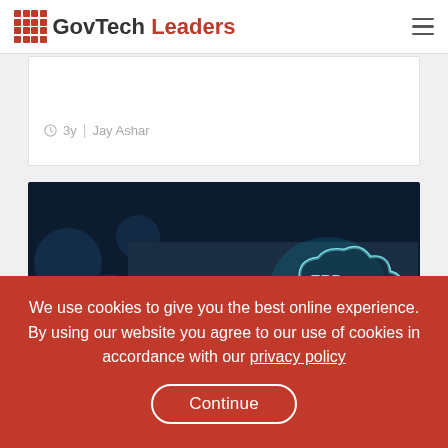GovTech Leaders
3y | Jay Ashar
[Figure (photo): Businessperson holding a glowing cloud icon with 'ERP' text and arrow, technology concept image on dark background]
Cloud Computing New ERP system delivers
We use cookies to give you the best online experience. By using our website you agree to our use of cookies in accordance with our privacy policy